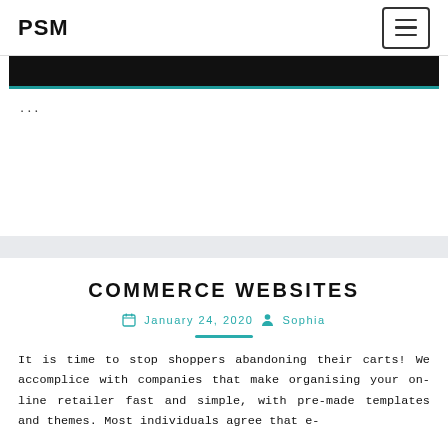PSM
[Figure (screenshot): Partial image strip at top of first card, mostly black with teal accent at bottom edge]
...
COMMERCE WEBSITES
January 24, 2020  Sophia
It is time to stop shoppers abandoning their carts! We accomplice with companies that make organising your on-line retailer fast and simple, with pre-made templates and themes. Most individuals agree that e-